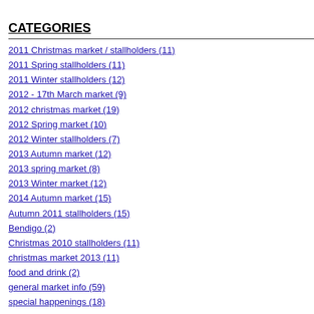CATEGORIES
2011 Christmas market / stallholders (11)
2011 Spring stallholders (11)
2011 Winter stallholders (12)
2012 - 17th March market (9)
2012 christmas market (19)
2012 Spring market (10)
2012 Winter stallholders (7)
2013 Autumn market (12)
2013 spring market (8)
2013 Winter market (12)
2014 Autumn market (15)
Autumn 2011 stallholders (15)
Bendigo (2)
Christmas 2010 stallholders (11)
christmas market 2013 (11)
food and drink (2)
general market info (59)
special happenings (18)
stallholders (16)
The Bendigo Town Hall (3)
Little Keeper - pai...
Little Nogg - vintage insp...
Miss Ruby May - childre...
Mookah - eco friendly home...
Mooku - re...
My Bonnie Knitwea...
Nena Perrill - steampunk &...
Oh Happy Da...
Photography by Alistair...
Rebound Books - beautiful st...
Ryder Loves Miller - ...
Saff & Sass...
Sheesh Handmade - a-li...
Sillee Billee - handcra...
Simplicity - natural ski...
Simply Type - vintage...